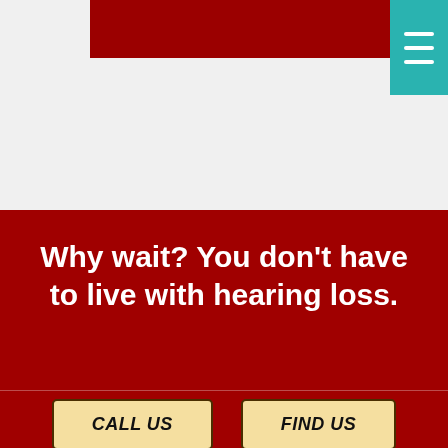[Figure (screenshot): Top navigation bar with dark red background and teal hamburger menu button in top right corner]
Why wait? You don't have to live with hearing loss.
CALL OR TEXT US
CALL US
FIND US